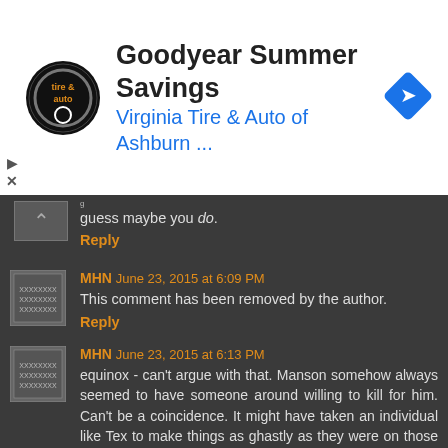[Figure (other): Goodyear Summer Savings advertisement banner for Virginia Tire & Auto of Ashburn with tire/auto logo circle and navigation arrow diamond icon]
guess maybe you do.
Reply
MHN June 23, 2015 at 6:09 PM
This comment has been removed by the author.
Reply
MHN June 23, 2015 at 6:13 PM
equinox - can't argue with that. Manson somehow always seemed to have someone around willing to kill for him. Can't be a coincidence. It might have taken an individual like Tex to make things as ghastly as they were on those two nights, but on the other hand, what Manson wanted done to Saladio Nader was not exactly clean and civil...